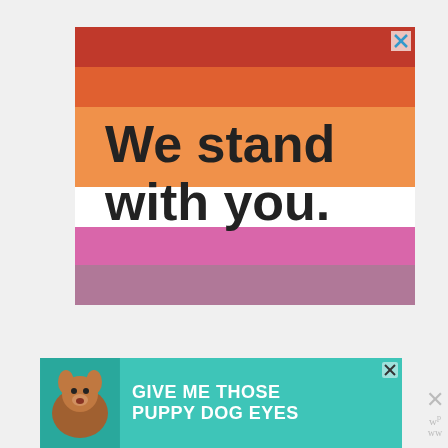[Figure (illustration): Advertisement banner featuring the lesbian pride flag (horizontal stripes in dark red, orange-red, orange, white, pink, light pink, dark pink/magenta) with bold dark text overlaid reading 'We stand with you.' A small X close button appears in the top-right corner.]
[Figure (illustration): Bottom advertisement banner with teal background showing a dog photo on the left and bold white uppercase text 'GIVE ME THOSE PUPPY DOG EYES' with heart and arrow graphics. Has a close button.]